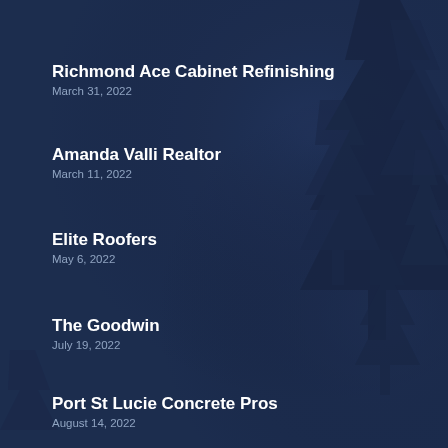Richmond Ace Cabinet Refinishing
March 31, 2022
Amanda Valli Realtor
March 11, 2022
Elite Roofers
May 6, 2022
The Goodwin
July 19, 2022
Port St Lucie Concrete Pros
August 14, 2022